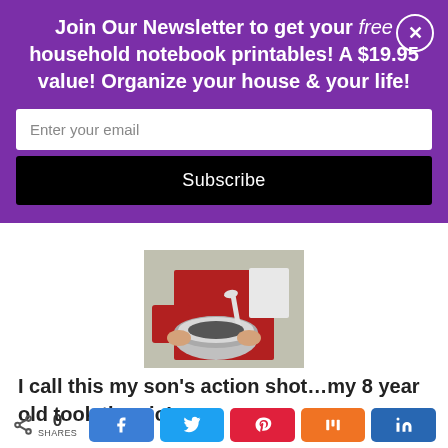good! Here's some funny pics of us making them
Join Our Newsletter to get your free household notebook printables! A $19.95 value! Organize your house & your life!
Enter your email
Subscribe
[Figure (photo): Person wearing a red apron cooking, mixing in a silver bowl in a kitchen. Photo taken from below/side angle.]
I call this my son's action shot...my 8 year old took the pic!
0 SHARES